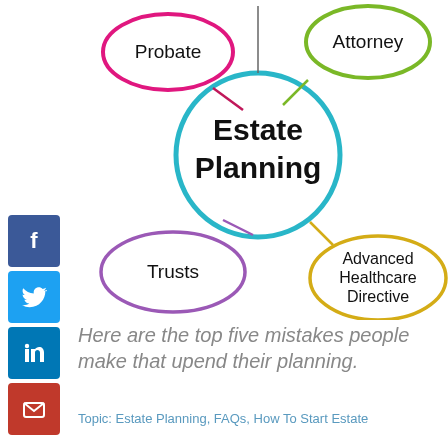[Figure (infographic): Mind map diagram centered on 'Estate Planning' in a teal circle, with connected satellite ellipses: 'Probate' (pink, top-left), 'Attorney' (green, top-right), 'Trusts' (purple, bottom-left), 'Advanced Healthcare Directive' (gold, bottom-right).]
Here are the top five mistakes people make that upend their planning.
Topic: Estate Planning, FAQs, How To Start Estate